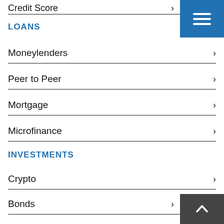Credit Score
LOANS
Moneylenders
Peer to Peer
Mortgage
Microfinance
INVESTMENTS
Crypto
Bonds